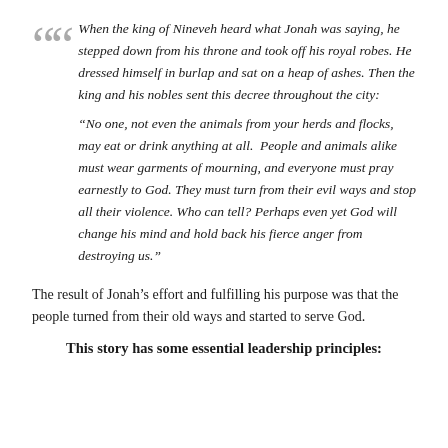When the king of Nineveh heard what Jonah was saying, he stepped down from his throne and took off his royal robes. He dressed himself in burlap and sat on a heap of ashes. Then the king and his nobles sent this decree throughout the city: “No one, not even the animals from your herds and flocks, may eat or drink anything at all. People and animals alike must wear garments of mourning, and everyone must pray earnestly to God. They must turn from their evil ways and stop all their violence. Who can tell? Perhaps even yet God will change his mind and hold back his fierce anger from destroying us.”
The result of Jonah’s effort and fulfilling his purpose was that the people turned from their old ways and started to serve God.
This story has some essential leadership principles: